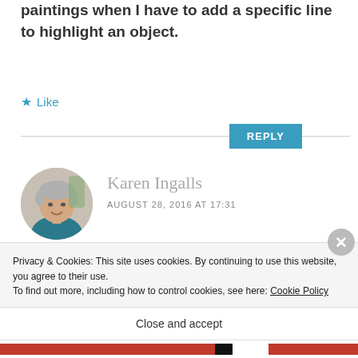paintings when I have to add a specific line to highlight an object.
★ Like
REPLY
[Figure (photo): Circular avatar photo of Karen Ingalls, a woman with short grey hair wearing a teal blouse]
Karen Ingalls
AUGUST 28, 2016 AT 17:31
What a delightful post. With two
Privacy & Cookies: This site uses cookies. By continuing to use this website, you agree to their use.
To find out more, including how to control cookies, see here: Cookie Policy
Close and accept